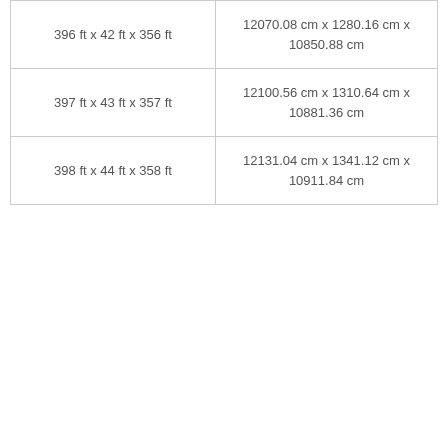| 396 ft x 42 ft x 356 ft | 12070.08 cm x 1280.16 cm x
10850.88 cm |
| 397 ft x 43 ft x 357 ft | 12100.56 cm x 1310.64 cm x
10881.36 cm |
| 398 ft x 44 ft x 358 ft | 12131.04 cm x 1341.12 cm x
10911.84 cm |